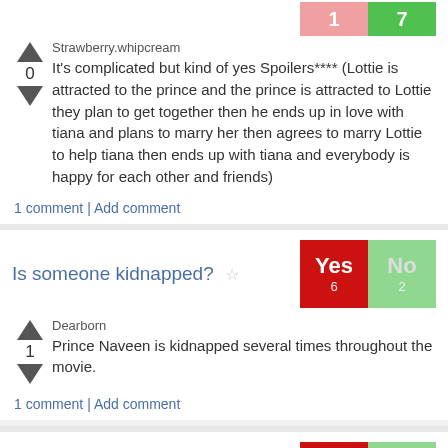[Figure (other): Pink and green vote buttons showing 1 and 7]
Strawberry.whipcream
It's complicated but kind of yes Spoilers**** (Lottie is attracted to the prince and the prince is attracted to Lottie they plan to get together then he ends up in love with tiana and plans to marry her then agrees to marry Lottie to help tiana then ends up with tiana and everybody is happy for each other and friends)
1 comment | Add comment
Is someone kidnapped?
[Figure (other): Yes/No vote buttons: Yes=6 (red), No=2 (light green)]
Dearborn
Prince Naveen is kidnapped several times throughout the movie.
1 comment | Add comment
Does a parent die?